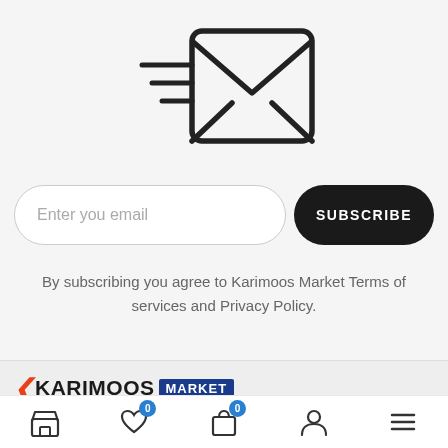[Figure (illustration): Email/newsletter icon: an envelope with speed lines on the left side indicating fast delivery, drawn in outline style on a light gray background]
[Figure (screenshot): Email subscription form with a rounded text input field reading 'Enter you email' and a dark rounded button reading 'SUBSCRIBE']
By subscribing you agree to Karimoos Market Terms of services and Privacy Policy.
[Figure (logo): Karimoos Market logo: orange/red arrow chevron followed by 'KARIMOOS' in bold black uppercase letters and 'MARKET' in white text on a dark blue rectangle]
[Figure (infographic): Bottom navigation bar with 5 icons: store/shop, heart/wishlist with badge '0', shopping bag with badge '0', person/account, and hamburger menu]